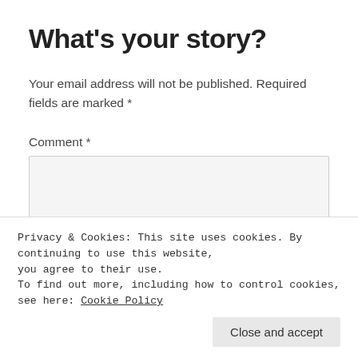What's your story?
Your email address will not be published. Required fields are marked *
Comment *
Privacy & Cookies: This site uses cookies. By continuing to use this website, you agree to their use.
To find out more, including how to control cookies, see here: Cookie Policy
Close and accept